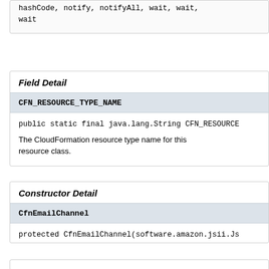hashCode, notify, notifyAll, wait, wait, wait
Field Detail
CFN_RESOURCE_TYPE_NAME
public static final java.lang.String CFN_RESOURCE...
The CloudFormation resource type name for this resource class.
Constructor Detail
CfnEmailChannel
protected CfnEmailChannel(software.amazon.jsii.Js...